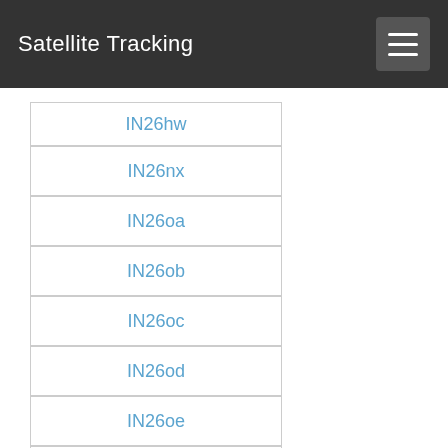Satellite Tracking
IN26hw
IN26nx
IN26oa
IN26ob
IN26oc
IN26od
IN26oe
IN26of
IN26og
IN26oh
IN26oi
IN26oj
IN26ok
IN26ol
IN26om
IN26on
IN26oo
IN26op